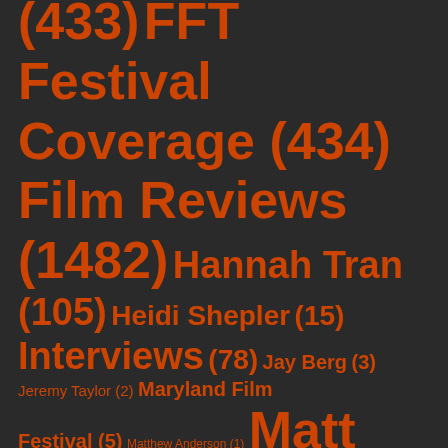(433) FFT Festival Coverage (434) Film Reviews (1482) Hannah Tran (105) Heidi Shepler (15) Interviews (78) Jay Berg (3) Jeremy Taylor (2) Maryland Film Festival (5) Matthew Anderson (1) Matt Patti (140) Melanie Addington (11) Middleburg Film Festival (9) New York Film Festival (8) Nicholas Spake (28)